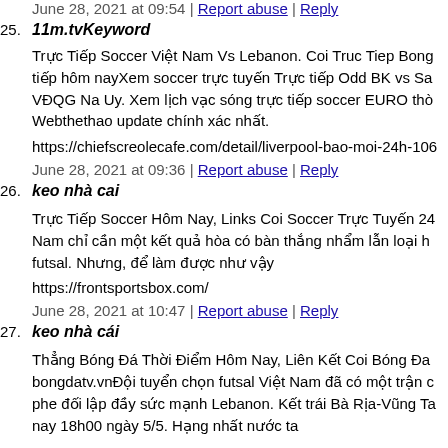June 28, 2021 at 09:54 | Report abuse | Reply
25. 11m.tvKeyword
Trực Tiếp Soccer Việt Nam Vs Lebanon. Coi Truc Tiep Bong tiếp hôm nayXem soccer trực tuyến Trực tiếp Odd BK vs Sa VĐQG Na Uy. Xem lịch vạc sóng trực tiếp soccer EURO thò Webthethao update chính xác nhất.
https://chiefscreolecafe.com/detail/liverpool-bao-moi-24h-106
June 28, 2021 at 09:36 | Report abuse | Reply
26. keo nhà cai
Trực Tiếp Soccer Hôm Nay, Links Coi Soccer Trực Tuyến 24 Nam chỉ cần một kết quả hòa có bàn thắng nhẩm lẫn loại h futsal. Nhưng, để làm được như vậy
https://frontsportsbox.com/
June 28, 2021 at 10:47 | Report abuse | Reply
27. keo nhà cái
Thẳng Bóng Đá Thời Điểm Hôm Nay, Liên Kết Coi Bóng Đa bongdatv.vnĐội tuyển chọn futsal Việt Nam đã có một trận c phe đối lập đầy sức mạnh Lebanon. Kết trái Bà Rịa-Vũng Ta nay 18h00 ngày 5/5. Hạng nhất nước ta